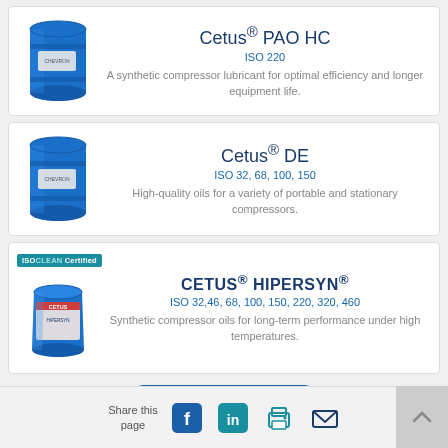[Figure (illustration): Blue industrial barrel drum for Cetus PAO HC product]
Cetus® PAO HC
ISO 220
A synthetic compressor lubricant for optimal efficiency and longer equipment life.
[Figure (illustration): Blue industrial barrel drum for Cetus DE product]
Cetus® DE
ISO 32, 68, 100, 150
High-quality oils for a variety of portable and stationary compressors.
[Figure (illustration): ISOCLEAN Certified badge and blue pail container for CETUS HIPERSYN product]
CETUS® HIPERSYN®
ISO 32,46, 68, 100, 150, 220, 320, 460
Synthetic compressor oils for long-term performance under high temperatures.
Share this page